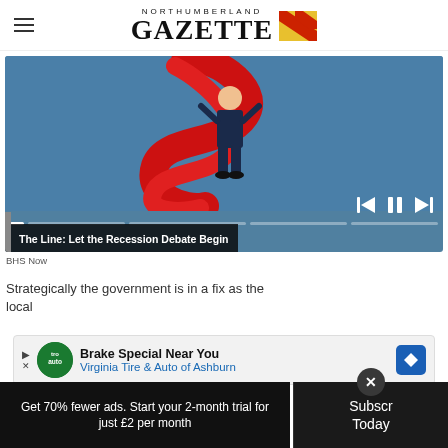NORTHUMBERLAND GAZETTE
[Figure (screenshot): Video player widget showing illustration of a person wrapped in red ribbon/tape, with media controls (skip back, pause, skip forward), progress bar, and caption 'The Line: Let the Recession Debate Begin'. Source label: BHS Now.]
The Line: Let the Recession Debate Begin
BHS Now
Strategically the government is in a fix as the local
[Figure (infographic): Advertisement overlay: Brake Special Near You - Virginia Tire & Auto of Ashburn]
Get 70% fewer ads. Start your 2-month trial for just £2 per month
Subscribe Today